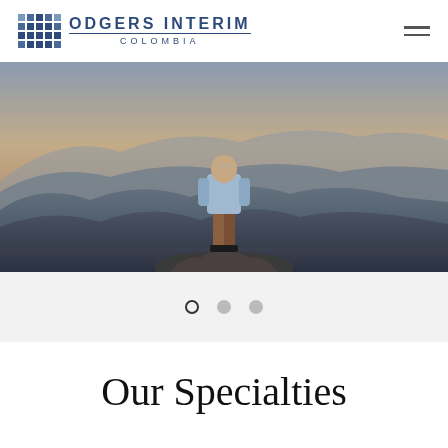ODGERS INTERIM COLOMBIA
[Figure (photo): Person standing on a rocky outcrop viewed from behind, wearing a light blue hoodie and tan pants, with a mountainous landscape and hazy sunset sky in the background.]
○ • •
Our Specialties